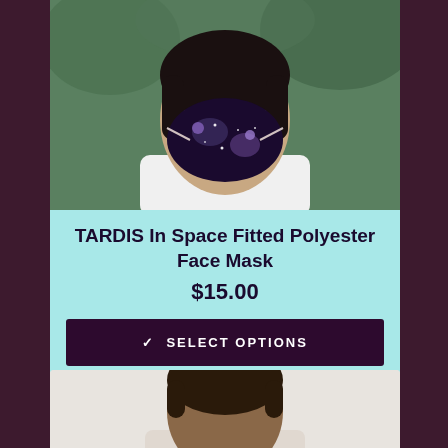[Figure (photo): Person wearing a TARDIS In Space patterned face mask, shown from shoulders up, wearing a white t-shirt, against a green background.]
TARDIS In Space Fitted Polyester Face Mask
$15.00
✓ SELECT OPTIONS
[Figure (photo): Person (male, dark skin tone) shown from shoulders up, apparently wearing or about to wear a face mask, against a white background. Only the head and upper shoulders are visible.]